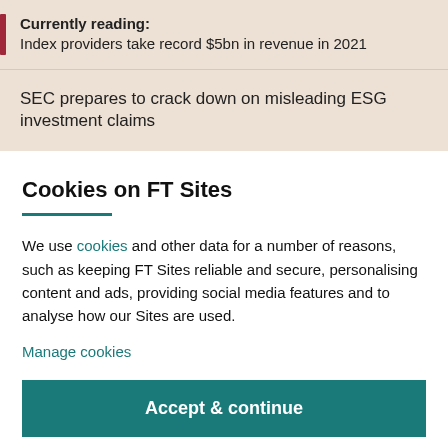Currently reading: Index providers take record $5bn in revenue in 2021
SEC prepares to crack down on misleading ESG investment claims
Cookies on FT Sites
We use cookies and other data for a number of reasons, such as keeping FT Sites reliable and secure, personalising content and ads, providing social media features and to analyse how our Sites are used.
Manage cookies
Accept & continue